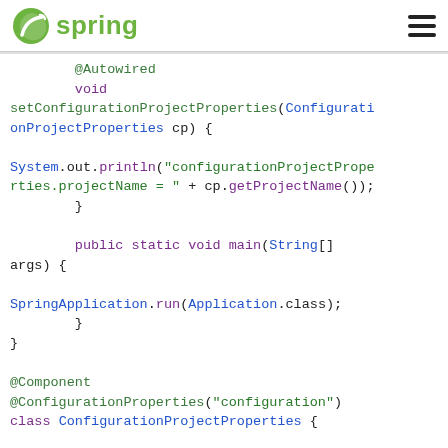spring
[Figure (screenshot): Spring framework logo with green leaf icon and 'spring' text in green]
@Autowired
void setConfigurationProjectProperties(ConfigurationProjectProperties cp) {

System.out.println("configurationProjectProperties.projectName = " + cp.getProjectName());
        }

        public static void main(String[] args) {

SpringApplication.run(Application.class);
        }
}

@Component
@ConfigurationProperties("configuration")
class ConfigurationProjectProperties {

        private String projectName;

        public String getProjectName() {
            return projectName;